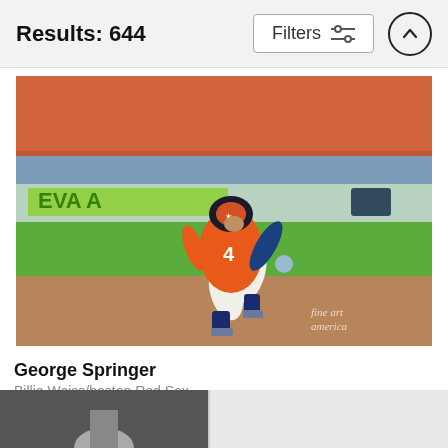Results: 644
[Figure (photo): Baseball player George Springer wearing Houston Astros orange jersey number 4, running on the field during a game. Crowd visible in background wearing orange. Fine Art America watermark in bottom right corner.]
George Springer
Billie Weiss/boston Red Sox
$9.62
[Figure (photo): Partially visible second product image showing a baseball player, cropped at the bottom of the page.]